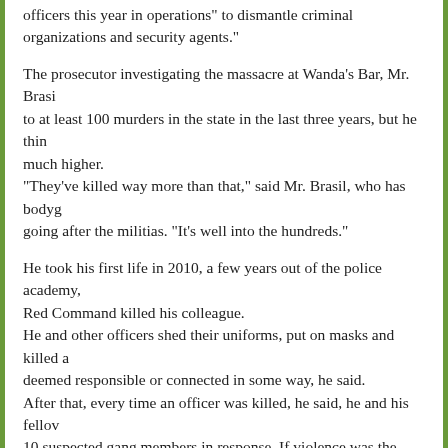officers this year in operations" to dismantle criminal organizations and security agents."
The prosecutor investigating the massacre at Wanda's Bar, Mr. Brasil, linked it to at least 100 murders in the state in the last three years, but he thinks the real toll is much higher. "They've killed way more than that," said Mr. Brasil, who has bodyguards for going after the militias. "It's well into the hundreds."
He took his first life in 2010, a few years out of the police academy, after Red Command killed his colleague. He and other officers shed their uniforms, put on masks and killed a man deemed responsible or connected in some way, he said. After that, every time an officer was killed, he said, he and his fellow officers killed 10 suspected gang members in response. If violence was the language, their message would be the loudest. Residents took notice, he said, and in 2012 a father in his neighborhood came to him: a man had raped his daughter and was still walking free.
He asked if the officer would kill the man, to end his family's nightmare. Days later, and the suspect was dead, the officer said, the father wept with gratitude. He refused at first, then accepted it.